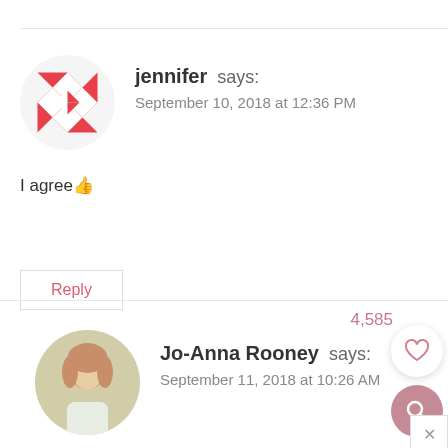jennifer says:
September 10, 2018 at 12:36 PM
I agree👍
Reply
4,585
Jo-Anna Rooney says:
September 11, 2018 at 10:26 AM
Thank you Jennifer!